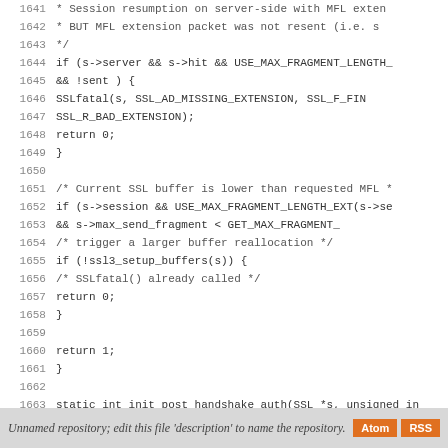Source code listing lines 1641-1668 with line numbers
Unnamed repository; edit this file 'description' to name the repository.